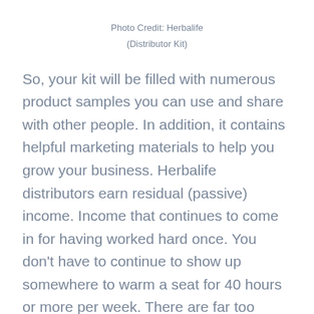Photo Credit: Herbalife
(Distributor Kit)
So, your kit will be filled with numerous product samples you can use and share with other people. In addition, it contains helpful marketing materials to help you grow your business. Herbalife distributors earn residual (passive) income. Income that continues to come in for having worked hard once. You don't have to continue to show up somewhere to warm a seat for 40 hours or more per week. There are far too many people who are having to do this and are living paycheck